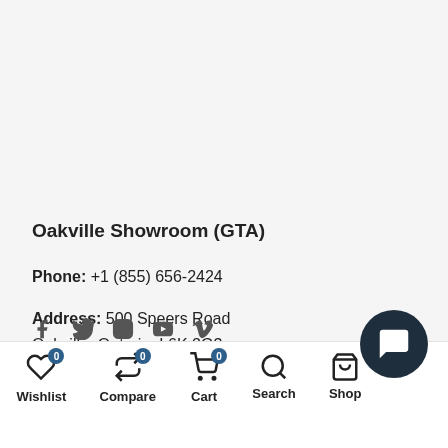Oakville Showroom (GTA)
Phone: +1 (855) 656-2424
Address: 500 Speers Road Oakville, Ontario, L6K 2G3
[Figure (infographic): Social media icons: Facebook, Twitter, Instagram, YouTube, Vimeo]
Wishlist 0 | Compare 0 | Cart 0 | Search | Shop